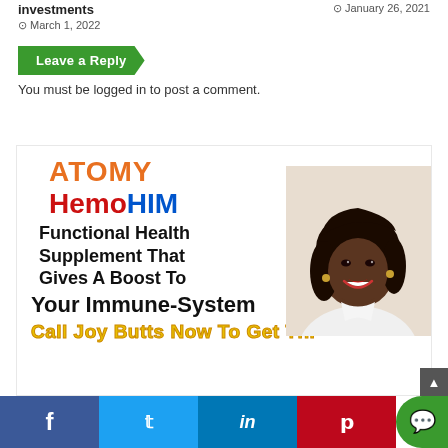investments
March 1, 2022
January 26, 2021
Leave a Reply
You must be logged in to post a comment.
[Figure (illustration): ATOMY HemoHIM advertisement banner with text: ATOMY HemoHIM Functional Health Supplement That Gives A Boost To Your Immune-System Call Joy Butts Now To Get This, with a photo of a smiling Black woman with shoulder-length hair on the right side]
f  t  in  p  [chat icon]